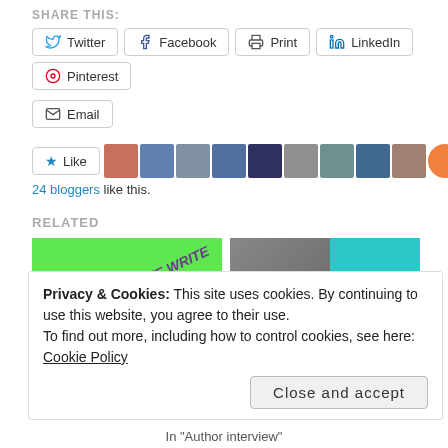SHARE THIS:
Twitter | Facebook | Print | LinkedIn | Pinterest | Email
24 bloggers like this.
RELATED
[Figure (photo): Green box with text 'WHY AND HOW WE WRITE' in purple italic rotated text]
[Figure (photo): Photo of a person next to a teal panel with text 'With D.G. Kaye' in pink]
Privacy & Cookies: This site uses cookies. By continuing to use this website, you agree to their use. To find out more, including how to control cookies, see here: Cookie Policy
Close and accept
In "Author interview"